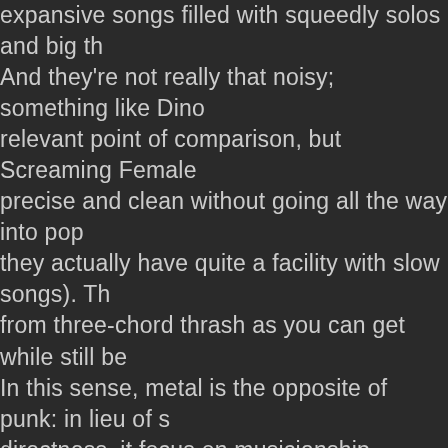expansive songs filled with squeedly solos and big th… And they're not really that noisy; something like Dino relevant point of comparison, but Screaming Female precise and clean without going all the way into pop they actually have quite a facility with slow songs). Th from three-chord thrash as you can get while still be In this sense, metal is the opposite of punk: in lieu of s directness, it focus on musicianship, complexity, and t (actually, metal is sort of pop hardcore, when you thi
If this all seems obvious, that's great, but people som difficulties in this regard. There was a guy in the mer about how this was "totally a punk show" and "bands nowadays" and blah blah blah (and using the precise demeanor which you are currently imagining), and I was a really sad perspective to hold (as well as being way to feel about punk, of all things). You imagine th kind of holy grail out there, and you spend all your ti instead of noticing everything else that's going on. A…